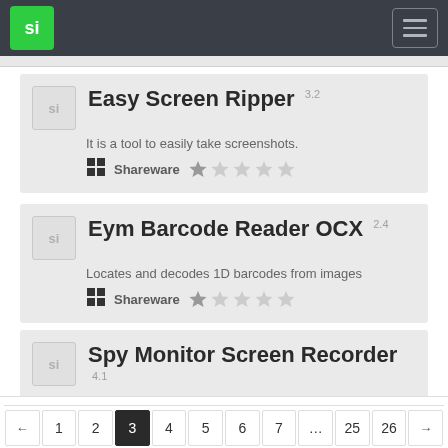si [logo] [hamburger menu]
Easy Screen Ripper 3.2 — It is a tool to easily take screenshots. — Shareware — 1 star
Eym Barcode Reader OCX 2.4 — Locates and decodes 1D barcodes from images — Shareware — 1 star
Spy Monitor Screen Recorder 4.1 — computer screen recorderspy monitor software — Shareware — 1 star
← 1 2 3 4 5 6 7 … 25 26 →